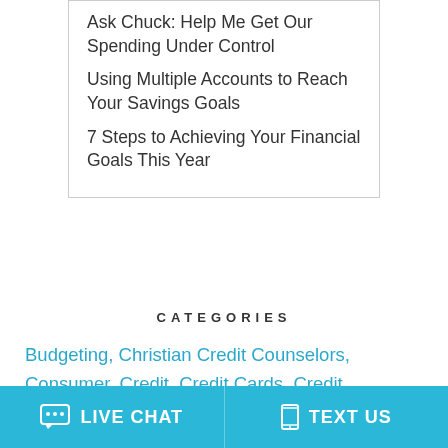Ask Chuck: Help Me Get Our Spending Under Control
Using Multiple Accounts to Reach Your Savings Goals
7 Steps to Achieving Your Financial Goals This Year
CATEGORIES
Budgeting, Christian Credit Counselors, Consumer, Credit, Credit Cards, Credit Counseling, Credit Score, Debit & Your Credit Score, Debt, Debt Consolidation
LIVE CHAT   TEXT US